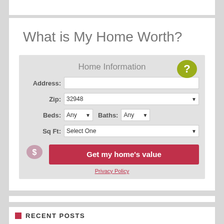What is My Home Worth?
[Figure (screenshot): Home Information form widget with fields for Address, Zip (32948), Beds (Any), Baths (Any), Sq Ft (Select One), a dollar sign speech bubble icon, a 'Get my home's value' red button, and a Privacy Policy link. A yellow-green question mark speech bubble icon appears in the top right of the form box.]
RECENT POSTS
2554 Home Relationship Cl...